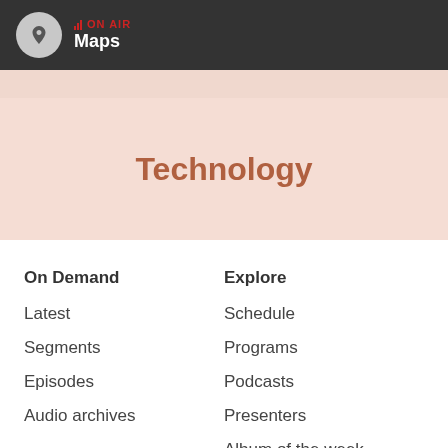ON AIR Maps
Technology
On Demand
Latest
Segments
Episodes
Audio archives
Explore
Schedule
Programs
Podcasts
Presenters
Album of the week
Soundscape
Articles
Videos